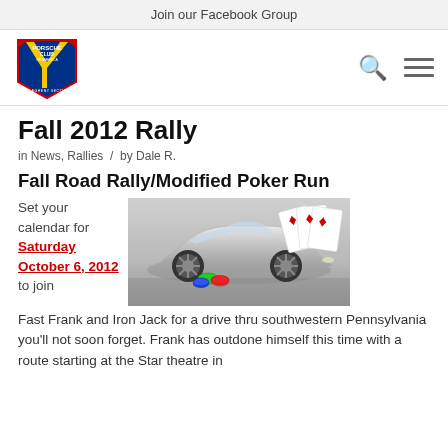Join our Facebook Group
[Figure (logo): Porsche Club of America Allegheny Section shield logo]
Fall 2012 Rally
in News, Rallies / by Dale R.
Fall Road Rally/Modified Poker Run
Set your calendar for Saturday October 6, 2012 to join Fast Frank and Iron Jack for a drive thru southwestern Pennsylvania you'll not soon forget. Frank has outdone himself this time with a route starting at the Star theatre in
[Figure (photo): Silver Porsche sports car with playing cards and poker chips beside it on a grey background]